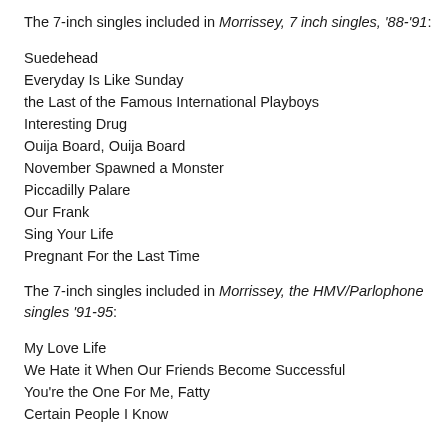The 7-inch singles included in Morrissey, 7 inch singles, '88-'91:
Suedehead
Everyday Is Like Sunday
the Last of the Famous International Playboys
Interesting Drug
Ouija Board, Ouija Board
November Spawned a Monster
Piccadilly Palare
Our Frank
Sing Your Life
Pregnant For the Last Time
The 7-inch singles included in Morrissey, the HMV/Parlophone singles '91-95:
My Love Life
We Hate it When Our Friends Become Successful
You're the One For Me, Fatty
Certain People I Know